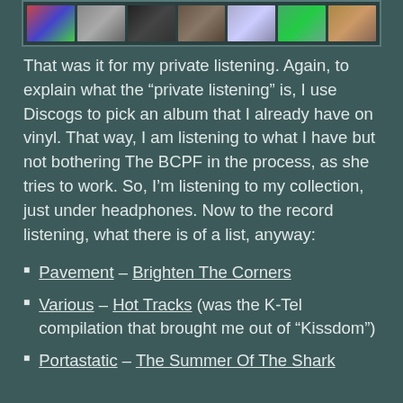[Figure (photo): A horizontal strip of album cover thumbnail images inside a dark bordered frame]
That was it for my private listening. Again, to explain what the “private listening” is, I use Discogs to pick an album that I already have on vinyl. That way, I am listening to what I have but not bothering The BCPF in the process, as she tries to work. So, I’m listening to my collection, just under headphones. Now to the record listening, what there is of a list, anyway:
Pavement – Brighten The Corners
Various – Hot Tracks (was the K-Tel compilation that brought me out of “Kissdom”)
Portastatic – The Summer Of The Shark